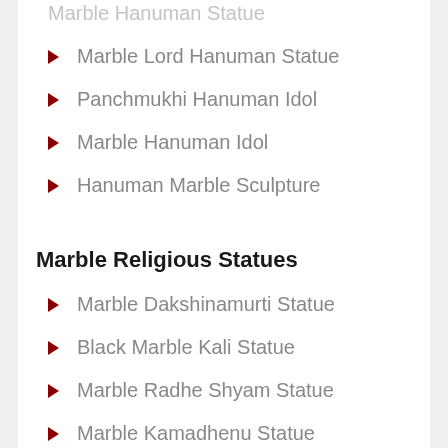Marble Hanuman Statue
Marble Lord Hanuman Statue
Panchmukhi Hanuman Idol
Marble Hanuman Idol
Hanuman Marble Sculpture
Marble Religious Statues
Marble Dakshinamurti Statue
Black Marble Kali Statue
Marble Radhe Shyam Statue
Marble Kamadhenu Statue
Marble Mother Mary Statue
Marble Satyasai Statue
Black Stone Shrinathji Statue